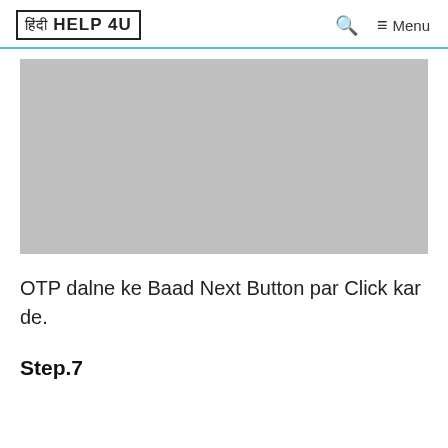[ हिंदी HELP 4U ] 🔍 ≡ Menu
[Figure (other): Grey placeholder image box]
OTP dalne ke Baad Next Button par Click kar de.
Step.7